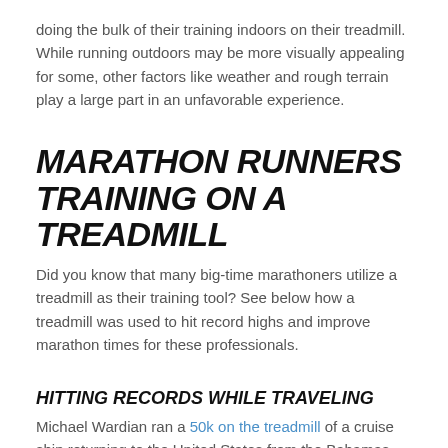doing the bulk of their training indoors on their treadmill. While running outdoors may be more visually appealing for some, other factors like weather and rough terrain play a large part in an unfavorable experience.
MARATHON RUNNERS TRAINING ON A TREADMILL
Did you know that many big-time marathoners utilize a treadmill as their training tool? See below how a treadmill was used to hit record highs and improve marathon times for these professionals.
HITTING RECORDS WHILE TRAVELING
Michael Wardian ran a 50k on the treadmill of a cruise ship returning to the United States from the Bahamas with a time of 3:06:24, only 47 seconds short of hitting a world record